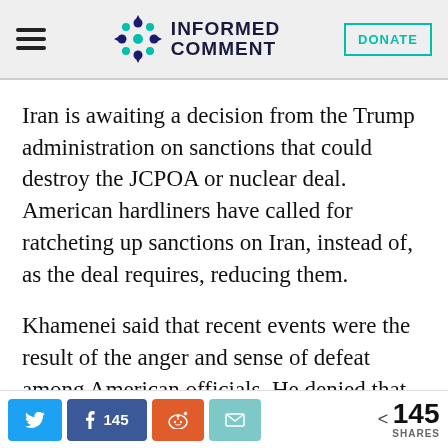Informed Comment
Iran is awaiting a decision from the Trump administration on sanctions that could destroy the JCPOA or nuclear deal. American hardliners have called for ratcheting up sanctions on Iran, instead of, as the deal requires, reducing them.
Khamenei said that recent events were the result of the anger and sense of defeat among American officials. He denied that
145 SHARES